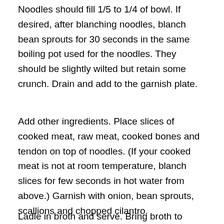Noodles should fill 1/5 to 1/4 of bowl. If desired, after blanching noodles, blanch bean sprouts for 30 seconds in the same boiling pot used for the noodles. They should be slightly wilted but retain some crunch. Drain and add to the garnish plate.
Add other ingredients. Place slices of cooked meat, raw meat, cooked bones and tendon on top of noodles. (If your cooked meat is not at room temperature, blanch slices for few seconds in hot water from above.) Garnish with onion, bean sprouts, scallions and chopped cilantro.
Ladle in broth and serve. Bring broth to